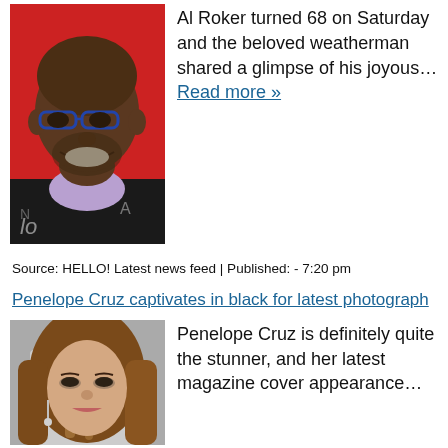Al Roker turned 68 on Saturday and the beloved weatherman shared a glimpse of his joyous... Read more »
[Figure (photo): Portrait photo of Al Roker smiling, wearing blue glasses, against a red background]
Source: HELLO! Latest news feed | Published: - 7:20 pm
Penelope Cruz captivates in black for latest photograph
[Figure (photo): Portrait photo of Penelope Cruz with long brown hair, wearing earrings]
Penelope Cruz is definitely quite the stunner, and her latest magazine cover appearance...